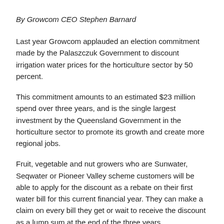By Growcom CEO Stephen Barnard
Last year Growcom applauded an election commitment made by the Palaszczuk Government to discount irrigation water prices for the horticulture sector by 50 percent.
This commitment amounts to an estimated $23 million spend over three years, and is the single largest investment by the Queensland Government in the horticulture sector to promote its growth and create more regional jobs.
Fruit, vegetable and nut growers who are Sunwater, Seqwater or Pioneer Valley scheme customers will be able to apply for the discount as a rebate on their first water bill for this current financial year. They can make a claim on every bill they get or wait to receive the discount as a lump sum at the end of the three years.
Promoting extra production is important, but so is ensuring we have the people in place to harvest it. Here too the Queensland Government is lending a hand.